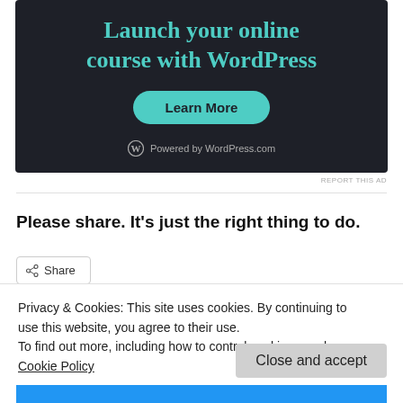[Figure (other): WordPress ad banner with dark background, teal heading 'Launch your online course with WordPress', a 'Learn More' button, and 'Powered by WordPress.com' footer]
REPORT THIS AD
Please share. It's just the right thing to do.
Share
Privacy & Cookies: This site uses cookies. By continuing to use this website, you agree to their use.
To find out more, including how to control cookies, see here: Cookie Policy
Close and accept